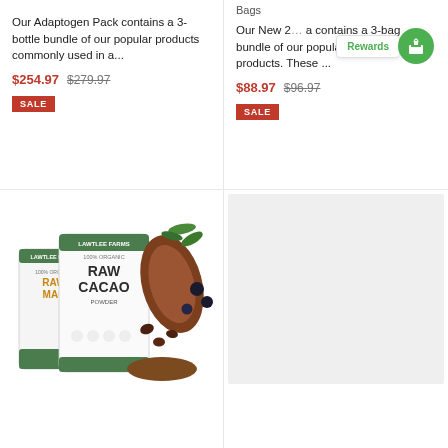Our Adaptogen Pack contains a 3-bottle bundle of our popular products commonly used in a...
$254.97  $279.97
SALE
Bags
Our New 2... contains a 3-bag bundle of our popular plant-based products. These ...
$88.97  $96.97
SALE
[Figure (photo): Product photo showing Laird Lee Farms 100% Organic Raw Cacao Powder bags and Raw Mac bags with cacao fruit and berries]
[Figure (photo): Placeholder/blank product image area (light gray)]